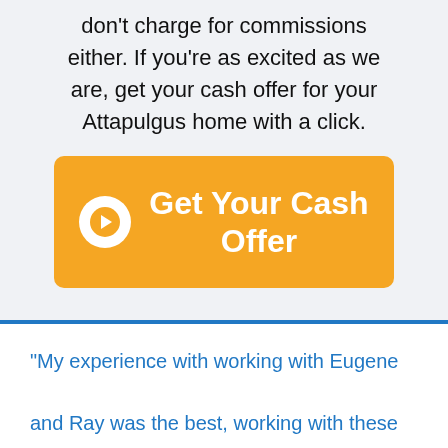don't charge for commissions either. If you're as excited as we are, get your cash offer for your Attapulgus home with a click.
[Figure (other): Orange call-to-action button with white arrow circle icon and text 'Get Your Cash Offer']
"My experience with working with Eugene and Ray was the best, working with these